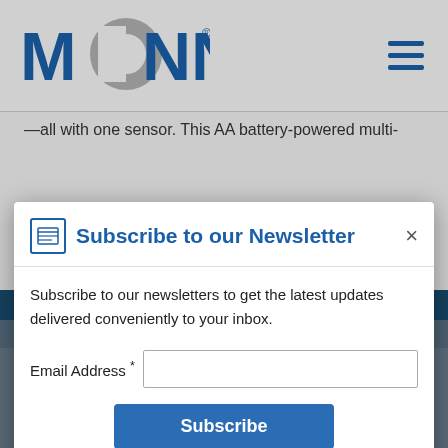[Figure (logo): Monnit logo with blue text and gray O]
—all with one sensor. This AA battery-powered multi-
Subscribe to our Newsletter
Subscribe to our newsletters to get the latest updates delivered conveniently to your inbox.
Email Address *
Subscribe
This website uses cookies to ensure you get the best experience on our website. Learn more
Applications
Got it!
Full-featured Room/area Monitoring
Hospital Rooms